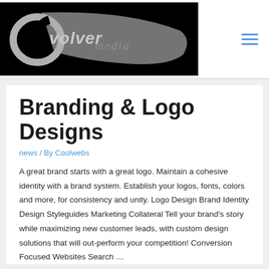[Figure (logo): Evolver Media logo — white/grey stylized text on black background with a sweeping swoosh design]
Branding & Logo Designs
news / By Coolwebs
A great brand starts with a great logo. Maintain a cohesive identity with a brand system. Establish your logos, fonts, colors and more, for consistency and unity. Logo Design Brand Identity Design Styleguides Marketing Collateral Tell your brand's story while maximizing new customer leads, with custom design solutions that will out-perform your competition! Conversion Focused Websites Search …